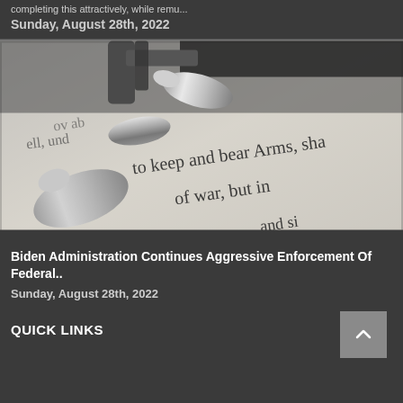Sunday, August 28th, 2022
[Figure (photo): Black and white close-up photo of bullets and a handgun resting on a handwritten document showing the words 'to keep and bear Arms, sha... of war, but in... and si...']
Biden Administration Continues Aggressive Enforcement Of Federal..
Sunday, August 28th, 2022
QUICK LINKS